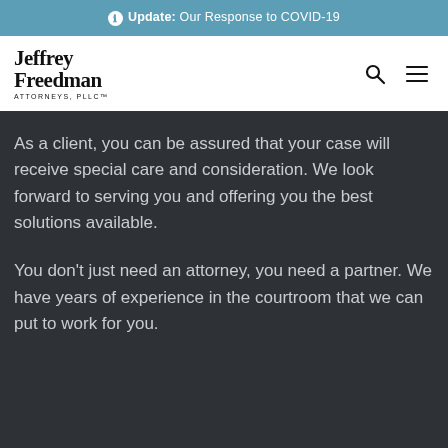ℹ Update: Our Response to COVID-19
[Figure (logo): Jeffrey Freedman Attorneys PLLC logo with serif wordmark and navigation icons (search and menu)]
As a client, you can be assured that your case will receive special care and consideration. We look forward to serving you and offering you the best solutions available.
You don't just need an attorney, you need a partner. We have years of experience in the courtroom that we can put to work for you.